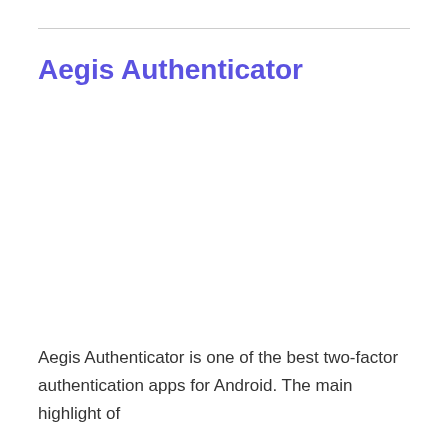Aegis Authenticator
Aegis Authenticator is one of the best two-factor authentication apps for Android. The main highlight of